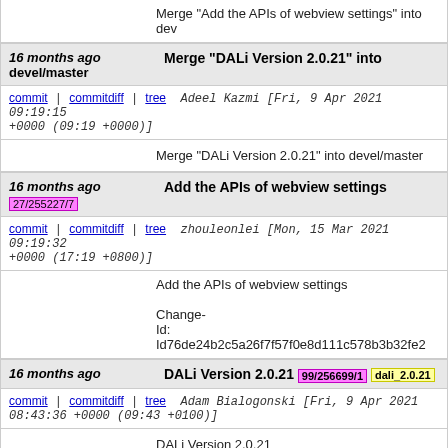Merge "Add the APIs of webview settings" into dev
16 months ago  Merge "DALi Version 2.0.21" into devel/master
commit | commitdiff | tree   Adeel Kazmi [Fri, 9 Apr 2021 09:19:15 +0000 (09:19 +0000)]
Merge "DALi Version 2.0.21" into devel/master
16 months ago  Add the APIs of webview settings  27/255227/7
commit | commitdiff | tree   zhouleonlei [Mon, 15 Mar 2021 09:19:32 +0000 (17:19 +0800)]
Add the APIs of webview settings

Change-Id: Id76de24b2c5a26f7f57f0e8d111c578b3b32fe2
16 months ago  DALi Version 2.0.21  99/256699/1  dali_2.0.21
commit | commitdiff | tree   Adam Bialogonski [Fri, 9 Apr 2021 08:43:36 +0000 (09:43 +0100)]
DALi Version 2.0.21